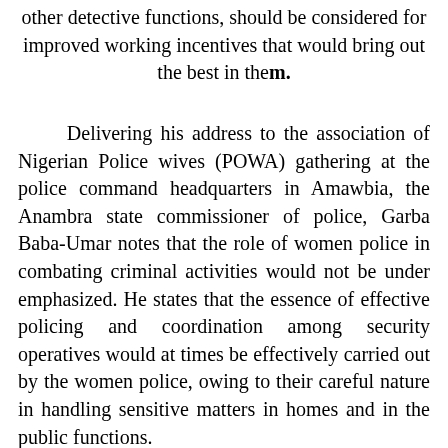other detective functions, should be considered for improved working incentives that would bring out the best in them.
Delivering his address to the association of Nigerian Police wives (POWA) gathering at the police command headquarters in Amawbia, the Anambra state commissioner of police, Garba Baba-Umar notes that the role of women police in combating criminal activities would not be under emphasized. He states that the essence of effective policing and coordination among security operatives would at times be effectively carried out by the women police, owing to their careful nature in handling sensitive matters in homes and in the public functions. CP Umar, advocates further for a robust environment, where women police would be given a first line charge of operation in the country policing system, as a veritable personnel whose dexterity to hard-work and professionalism would in no doubt offer the best